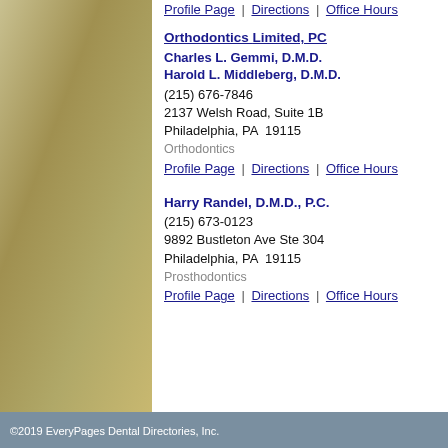Profile Page | Directions | Office Hours
Orthodontics Limited, PC
Charles L. Gemmi, D.M.D.
Harold L. Middleberg, D.M.D.
(215) 676-7846
2137 Welsh Road, Suite 1B
Philadelphia, PA  19115
Orthodontics
Profile Page | Directions | Office Hours
Harry Randel, D.M.D., P.C.
(215) 673-0123
9892 Bustleton Ave Ste 304
Philadelphia, PA  19115
Prosthodontics
Profile Page | Directions | Office Hours
©2019 EveryPages Dental Directories, Inc.